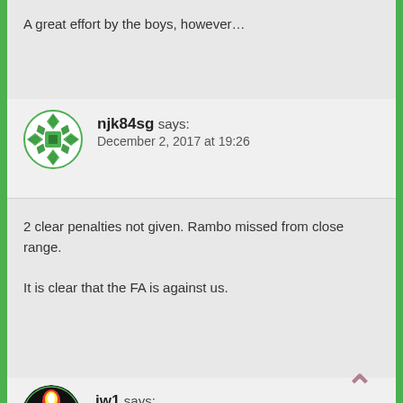A great effort by the boys, however…
njk84sg says:
December 2, 2017 at 19:26
2 clear penalties not given. Rambo missed from close range.

It is clear that the FA is against us.
[Figure (illustration): Green circular avatar icon with geometric pattern for user njk84sg]
jw1 says:
December 2, 2017 at 19:26
[Figure (illustration): Round avatar for jw1 with black background, red and yellow design, white sword/torch icon]